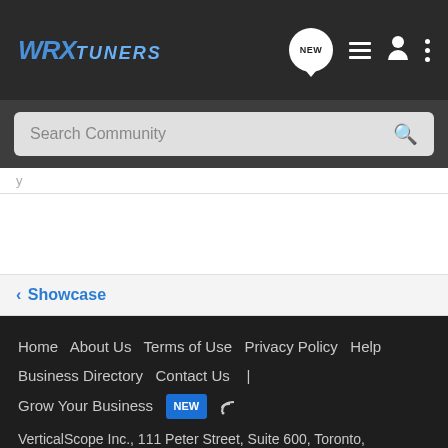WRX Tuners — NEW | list | user | menu
Search Community
< Showcase
Home  About Us  Terms of Use  Privacy Policy  Help  Business Directory  Contact Us  |  Grow Your Business  NEW
VerticalScope Inc., 111 Peter Street, Suite 600, Toronto, Ontario, M5V 2H1, Canada
The Fora platform includes forum software by XenForo
[Figure (logo): fora logo and BBB Accredited Business badge]